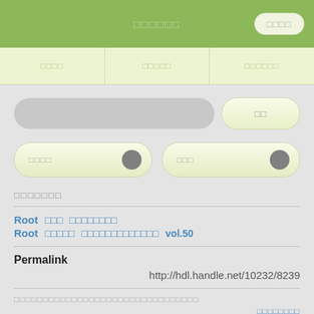□□□□□□
□□□□  □□□□□  □□□□□□
□□□□□□□
Root  □□□  □□□□□□□□
Root  □□□□□  □□□□□□□□□□□□□  vol.50
Permalink
http://hdl.handle.net/10232/8239
□□□□□□□□□□□□□□□□□□□□□□□□□□□□□□□□
□□□□□□□□